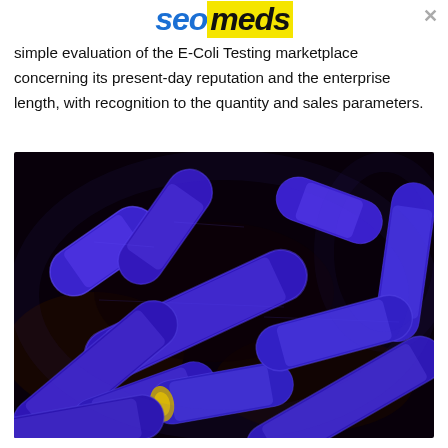seomeds
simple evaluation of the E-Coli Testing marketplace concerning its present-day reputation and the enterprise length, with recognition to the quantity and sales parameters.
[Figure (photo): Scanning electron microscope image of E. coli bacteria, colorized bright blue/purple against a dark background, showing multiple rod-shaped bacteria at high magnification.]